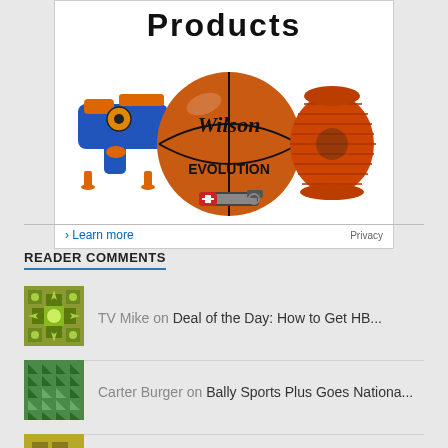[Figure (photo): Amazon advertisement banner showing products: a blue/orange Nerf gun, a Wilson Evolution basketball, a Swiss Army knife, and an orange ribbed Bluetooth speaker. Text at top reads 'Products'. Has 'Learn more' link and 'Privacy' label.]
READER COMMENTS
[Figure (illustration): User avatar - green geometric pattern icon]
TV Mike on Deal of the Day: How to Get HB...
[Figure (illustration): User avatar - green geometric pattern icon]
Carter Burger on Bally Sports Plus Goes Nationa...
[Figure (illustration): Partial user avatar - yellow/olive geometric pattern icon (cut off at bottom)]